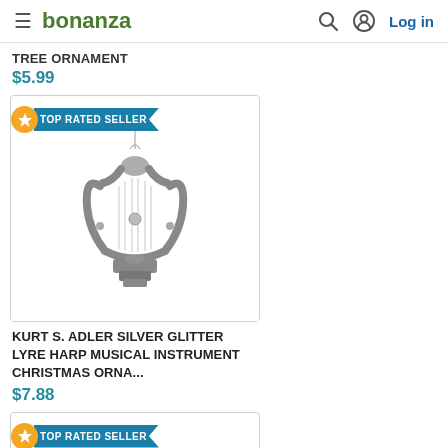bonanza — Log in
TREE ORNAMENT
$5.99
[Figure (photo): Silver glitter lyre harp musical instrument Christmas ornament hanging from a wire, shown on a white background inside a product listing card with a TOP RATED SELLER badge.]
KURT S. ADLER SILVER GLITTER LYRE HARP MUSICAL INSTRUMENT CHRISTMAS ORNA...
$7.88
[Figure (photo): Another product card stub with TOP RATED SELLER badge, bottom of page.]